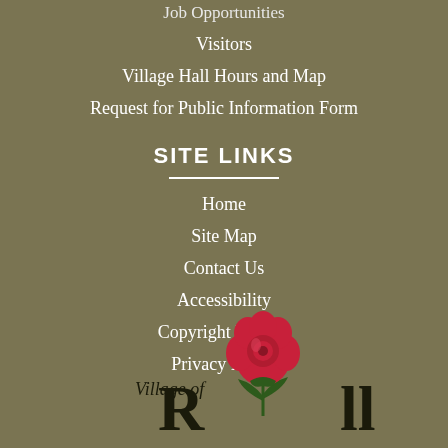Job Opportunities
Visitors
Village Hall Hours and Map
Request for Public Information Form
SITE LINKS
Home
Site Map
Contact Us
Accessibility
Copyright Notices
Privacy Policy
[Figure (logo): Village of Rosell logo with red rose graphic and stylized text]